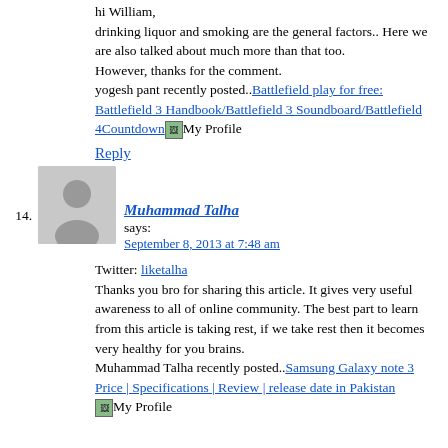hi William,
drinking liquor and smoking are the general factors.. Here we are also talked about much more than that too.
However, thanks for the comment.
yogesh pant recently posted..Battlefield play for free: Battlefield 3 Handbook/Battlefield 3 Soundboard/Battlefield 4Countdown My Profile
Reply
14. Muhammad Talha says:
September 8, 2013 at 7:48 am
Twitter: liketalha
Thanks you bro for sharing this article. It gives very useful awareness to all of online community. The best part to learn from this article is taking rest, if we take rest then it becomes very healthy for you brains.
Muhammad Talha recently posted..Samsung Galaxy note 3 Price | Specifications | Review | release date in Pakistan
My Profile